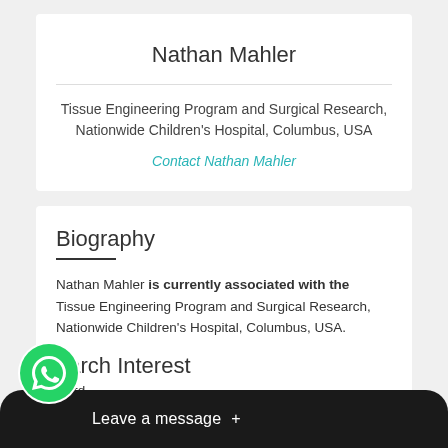Nathan Mahler
Tissue Engineering Program and Surgical Research, Nationwide Children's Hospital, Columbus, USA
Contact Nathan Mahler
Biography
Nathan Mahler is currently associated with the Tissue Engineering Program and Surgical Research, Nationwide Children's Hospital, Columbus, USA.
Research Interest
Card